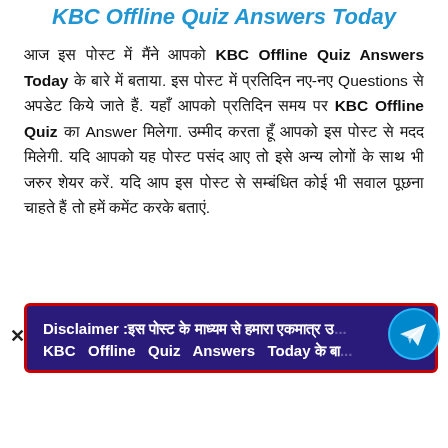KBC Offline Quiz Answers Today
आज इस पोस्ट में मैंने आपको KBC Offline Quiz Answers Today के बारे में बताया. इस पोस्ट में प्रतिदिन नए-नए Questions से अपडेट किये जाते हैं. यहाँ आपको प्रतिदिन समय पर KBC Offline Quiz का Answer मिलेगा. उम्मीद करता हूँ आपको इस पोस्ट से मदद मिलेगी. यदि आपको यह पोस्ट पसंद आए तो इसे अन्य लोगों के साथ भी जरुर शेयर करें. यदि आप इस पोस्ट से सम्बंधित कोई भी सवाल पूछना चाहते हैं तो हमें कमेंट करके बताएं.
Disclaimer :इस पोस्ट के माध्यम से हमारा एकमात्र उ... KBC Offline Quiz Answers Today के बा...